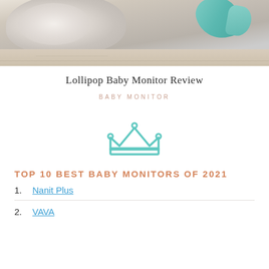[Figure (photo): Top portion of a photo showing a fluffy white/grey dog or stuffed animal on a light wood floor, with a teal/aqua colored toy or object visible at the top right.]
Lollipop Baby Monitor Review
BABY MONITOR
[Figure (illustration): A teal/mint colored crown icon centered on the page.]
TOP 10 BEST BABY MONITORS OF 2021
1. Nanit Plus
2. VAVA